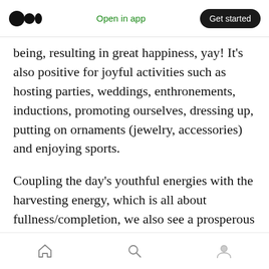Open in app | Get started
being, resulting in great happiness, yay! It’s also positive for joyful activities such as hosting parties, weddings, enthronements, inductions, promoting ourselves, dressing up, putting on ornaments (jewelry, accessories) and enjoying sports.
Coupling the day’s youthful energies with the harvesting energy, which is all about fullness/completion, we also see a prosperous day ahead in for all on Earth and though generous and understanding, the animal personality of the day is competitive, fears
Home | Search | Profile